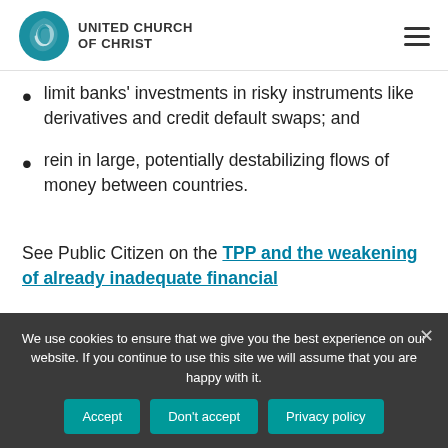UNITED CHURCH OF CHRIST
limit banks' investments in risky instruments like derivatives and credit default swaps; and
rein in large, potentially destabilizing flows of money between countries.
See Public Citizen on the TPP and the weakening of already inadequate financial
We use cookies to ensure that we give you the best experience on our website. If you continue to use this site we will assume that you are happy with it.